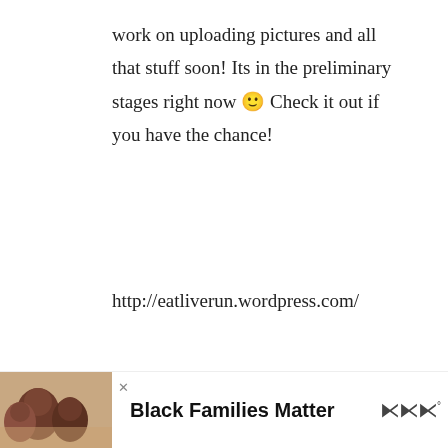work on uploading pictures and all that stuff soon! Its in the preliminary stages right now 🙂 Check it out if you have the chance!

http://eatliverun.wordpress.com/
Reply
SawSaw says
December 9, 2007 at 12:59 pm
[Figure (infographic): Advertisement banner showing photo of people and text 'Black Families Matter']